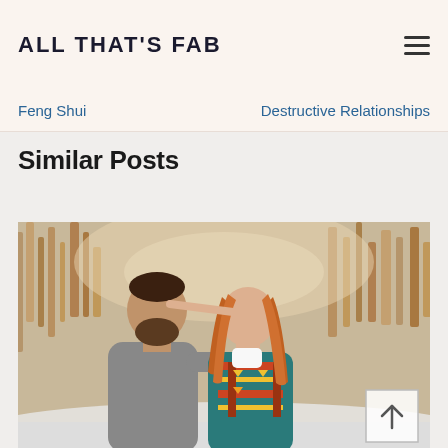ALL THAT'S FAB
Feng Shui
Destructive Relationships
Similar Posts
[Figure (photo): A couple kissing outdoors in a winter snowy setting. The man has a beard and is wearing a grey knit sweater; the woman has long red hair and is wearing a colorful Aztec-patterned blanket wrap. Bare winter trees are visible in the background.]